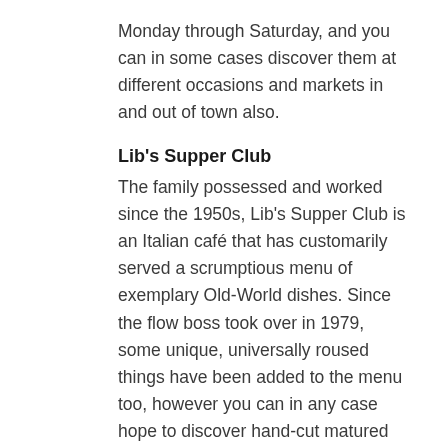Monday through Saturday, and you can in some cases discover them at different occasions and markets in and out of town also.
Lib's Supper Club
The family possessed and worked since the 1950s, Lib's Supper Club is an Italian café that has customarily served a scrumptious menu of exemplary Old-World dishes. Since the flow boss took over in 1979, some unique, universally roused things have been added to the menu too, however you can in any case hope to discover hand-cut matured steaks, heavenly pasta dishes, and exemplary dishes like chicken Parmesan.